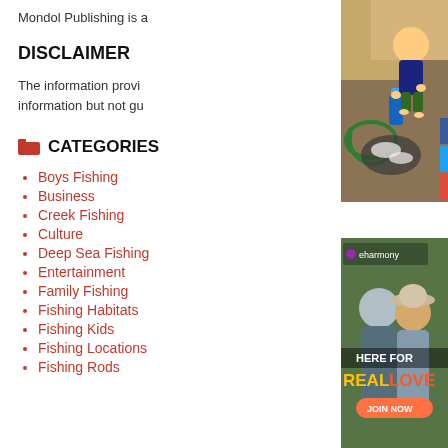Mondol Publishing is a...
DISCLAIMER
The information provi... information but not gu...
CATEGORIES
Boys Fishing
Business
Creek Fishing
Culture
Deep Sea Fishing
Entertainment
Family Fishing
Fishing Habitats
Fishing Kids
Fishing Locations
Fishing Rods
[Figure (photo): Child playing with water hose and bucket outdoors]
[Figure (photo): eharmony advertisement showing couple with text HERE FOR REAL LOVE and JOIN NOW button]